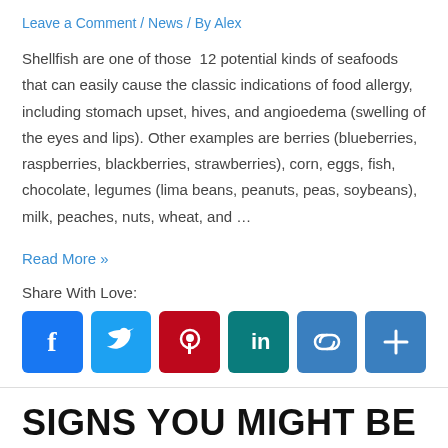Leave a Comment / News / By Alex
Shellfish are one of those  12 potential kinds of seafoods that can easily cause the classic indications of food allergy, including stomach upset, hives, and angioedema (swelling of the eyes and lips). Other examples are berries (blueberries, raspberries, blackberries, strawberries), corn, eggs, fish, chocolate, legumes (lima beans, peanuts, peas, soybeans), milk, peaches, nuts, wheat, and …
Read More »
Share With Love:
[Figure (infographic): Row of social media share buttons: Facebook, Twitter, Pinterest, LinkedIn, Link, More]
SIGNS YOU MIGHT BE